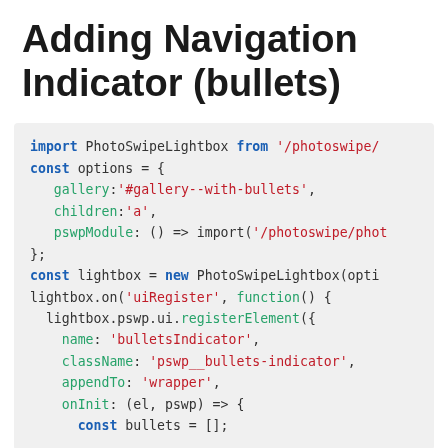Adding Navigation Indicator (bullets)
import PhotoSwipeLightbox from '/photoswipe/
const options = {
  gallery:'#gallery--with-bullets',
  children:'a',
  pswpModule: () => import('/photoswipe/phot
};
const lightbox = new PhotoSwipeLightbox(opti
lightbox.on('uiRegister', function() {
  lightbox.pswp.ui.registerElement({
    name: 'bulletsIndicator',
    className: 'pswp__bullets-indicator',
    appendTo: 'wrapper',
    onInit: (el, pswp) => {
      const bullets = [];